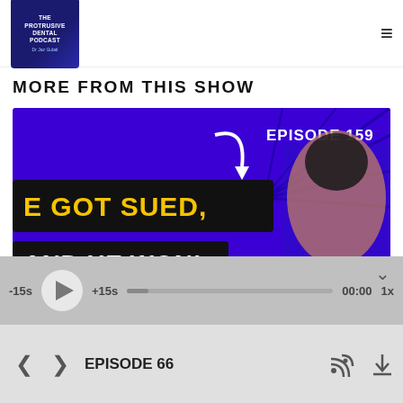The Protrusive Dental Podcast - Dr Jaz Gulati
MORE FROM THIS SHOW
[Figure (screenshot): Podcast episode thumbnail for Episode 159: 'He Got Sued, And He Won!' showing a man with hands on head in shock expression, bright blue/purple background with bold yellow and white text. Red stamp text reads FULL at bottom.]
EPISODE 159
-15s  +15s  00:00  1x
EPISODE 66